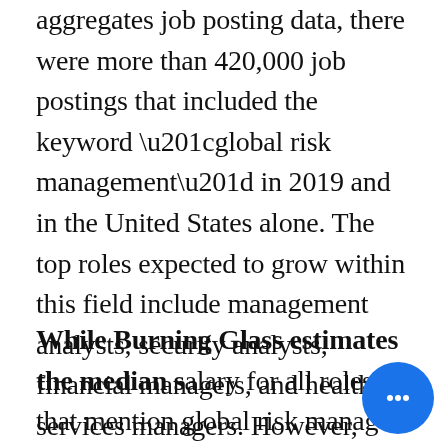aggregates job posting data, there were more than 420,000 job postings that included the keyword “global risk management” in 2019 and in the United States alone. The top roles expected to grow within this field include management analysts, security analysts, financial managers, and health services managers. However, there has also been strong historic demand for consultants in areas ranging from personal finance to senior roles in firms like Deloitte, PwC and other consultancies.
While Burning Glass estimates the median salary for all roles that mention global risk management at $84,946, the estimated average for roles that